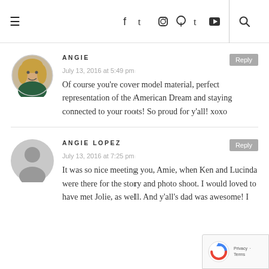≡  f  t  Instagram  Pinterest  t  YouTube  🔍
[Figure (photo): Round avatar photo of a blonde woman smiling, wearing a dark green top]
ANGIE
July 13, 2016 at 5:49 pm
Of course you're cover model material, perfect representation of the American Dream and staying connected to your roots! So proud for y'all! xoxo
[Figure (illustration): Default grey avatar silhouette icon for user with no profile photo]
ANGIE LOPEZ
July 13, 2016 at 7:25 pm
It was so nice meeting you, Amie, when Ken and Lucinda were there for the story and photo shoot. I would loved to have met Jolie, as well. And y'all's dad was awesome! I
[Figure (other): reCAPTCHA privacy badge with spinning arrow logo and Privacy - Terms links]